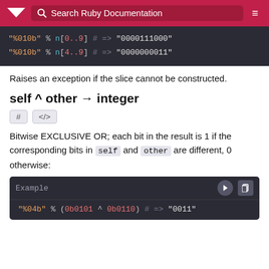Search Ruby Documentation
[Figure (screenshot): Code block showing: "%010b" % n[0..9] # => "0000111000" and "%010b" % n[4..9] # => "0000000011"]
Raises an exception if the slice cannot be constructed.
self ^ other → integer
# </>
Bitwise EXCLUSIVE OR; each bit in the result is 1 if the corresponding bits in self and other are different, 0 otherwise:
[Figure (screenshot): Example code block showing: "%04b" % (0b0101 ^ 0b0110) # => "0011"]